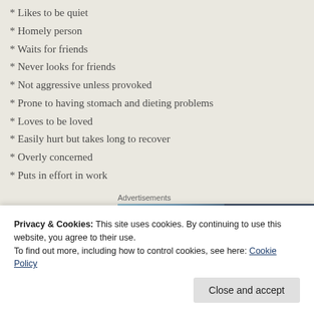* Likes to be quiet
* Homely person
* Waits for friends
* Never looks for friends
* Not aggressive unless provoked
* Prone to having stomach and dieting problems
* Loves to be loved
* Easily hurt but takes long to recover
* Overly concerned
* Puts in effort in work
Advertisements
[Figure (photo): Advertisement banner with a photo on the left and a dark blue panel with a white 'P' logo box on the right]
Privacy & Cookies: This site uses cookies. By continuing to use this website, you agree to their use.
To find out more, including how to control cookies, see here: Cookie Policy
Close and accept